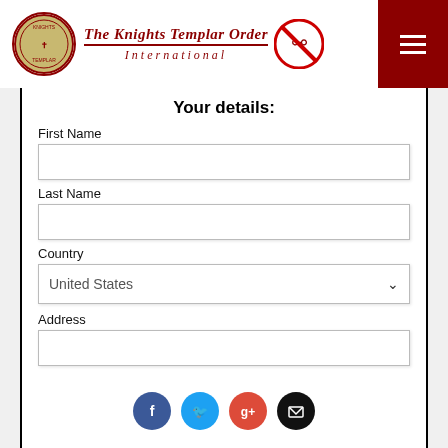The Knights Templar Order International
Your details:
First Name
Last Name
Country
United States
Address